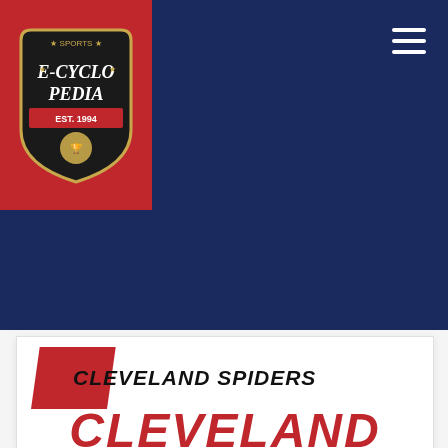[Figure (logo): Sports E-Cyclopedia logo on red background, shield/badge style with stars and banner]
August 23, 2022
CLEVELAND SPIDERS
CLEVELAND